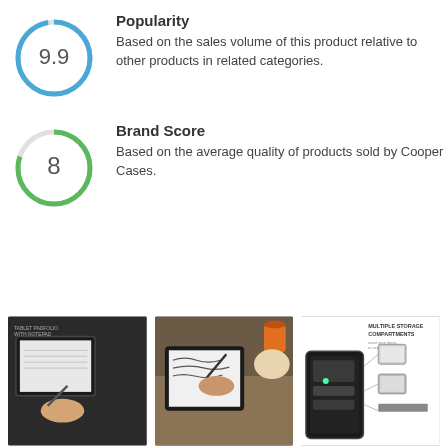[Figure (infographic): Circle gauge showing score 9.9 with blue circular border]
Popularity
Based on the sales volume of this product relative to other products in related categories.
[Figure (infographic): Circle gauge showing score 8 with green circular border]
Brand Score
Based on the average quality of products sold by Cooper Cases.
[Figure (photo): Photo of tablet padfolio with notepad product photo]
[Figure (photo): Photo of person writing on tablet with stylus]
[Figure (photo): Infographic showing multiple storage compartments of the case]